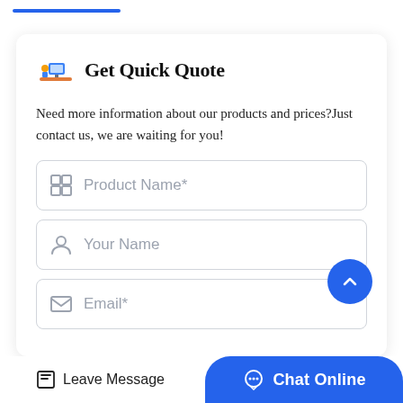[Figure (illustration): Blue horizontal line/bar at top of page]
Get Quick Quote
Need more information about our products and prices?Just contact us, we are waiting for you!
Product Name*
Your Name
Email*
Leave Message
Chat Online